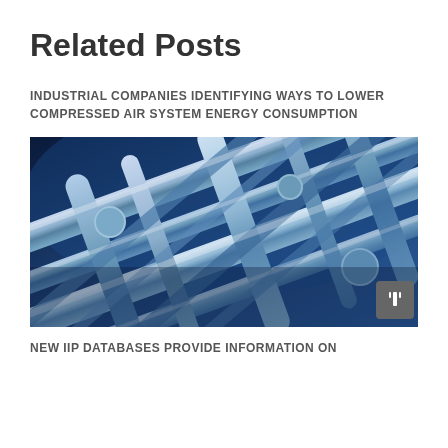Related Posts
INDUSTRIAL COMPANIES IDENTIFYING WAYS TO LOWER COMPRESSED AIR SYSTEM ENERGY CONSUMPTION
[Figure (photo): Industrial pipes and pipeline system with blue metallic tones, viewed from below at an angle]
NEW IIP DATABASES PROVIDE INFORMATION ON